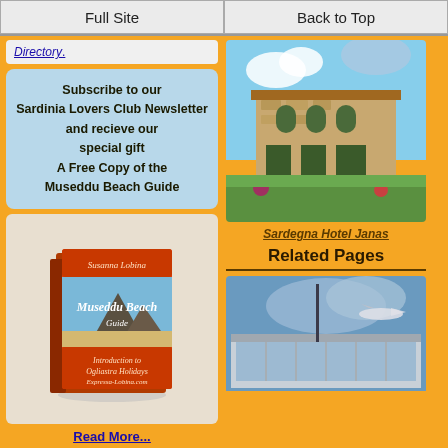Full Site | Back to Top
Directory.
Subscribe to our Sardinia Lovers Club Newsletter and recieve our special gift A Free Copy of the Museddu Beach Guide
[Figure (illustration): Book cover: Museddu Beach Guide / Introduction to Ogliastra Holidays by Susanna Lobina]
Read More...
[Figure (photo): Sardegna Hotel Janas - stone building with green lawn]
Sardegna Hotel Janas
Related Pages
[Figure (photo): Airport building with blue sky and parked airplane]